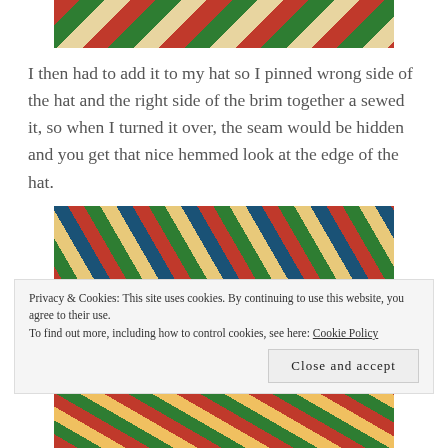[Figure (photo): Top portion of a colorful Christmas-themed fabric or gift wrap with red, green, and gold patterns]
I then had to add it to my hat so I pinned wrong side of the hat and the right side of the brim together a sewed it, so when I turned it over, the seam would be hidden and you get that nice hemmed look at the edge of the hat.
[Figure (photo): Close-up of colorful Christmas quilt blocks with green, red, and white patterned fabric squares arranged together]
Privacy & Cookies: This site uses cookies. By continuing to use this website, you agree to their use.
To find out more, including how to control cookies, see here: Cookie Policy
[Figure (photo): Bottom portion of colorful Christmas-themed fabric with red, green, and gold patterns]